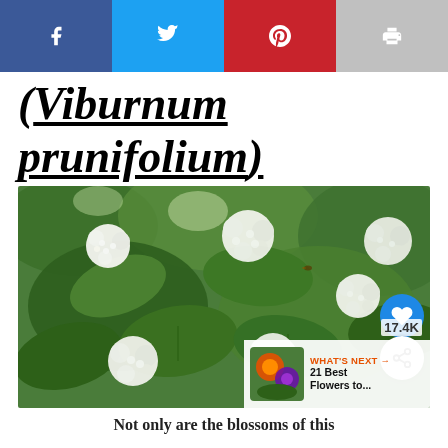[Figure (infographic): Social share bar with Facebook (blue), Twitter (light blue), Pinterest (red), and print (gray) buttons]
(Viburnum prunifolium)
[Figure (photo): Photograph of Viburnum prunifolium plant with white flower clusters and green leaves. Overlaid UI elements: heart/like button (17.4K), share button, and 'What's Next' thumbnail showing 21 Best Flowers to...]
Not only are the blossoms of this